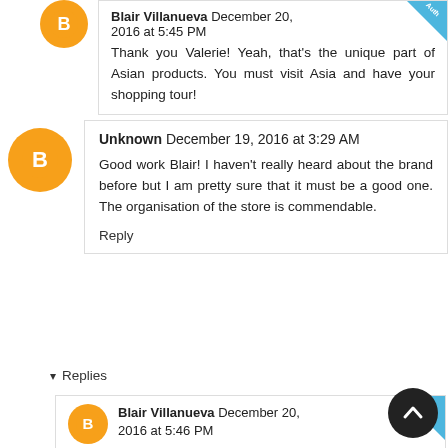Blair Villanueva December 20, 2016 at 5:45 PM
Thank you Valerie! Yeah, that's the unique part of Asian products. You must visit Asia and have your shopping tour!
Unknown December 19, 2016 at 3:29 AM
Good work Blair! I haven't really heard about the brand before but I am pretty sure that it must be a good one. The organisation of the store is commendable.
Reply
Replies
Blair Villanueva December 20, 2016 at 5:46 PM
you're welcome Laveena! I am hoping to see more products very soon!